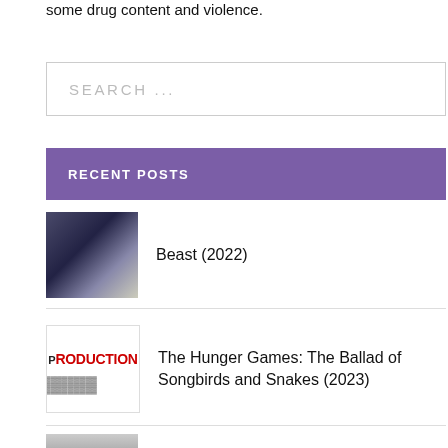some drug content and violence.
SEARCH ...
RECENT POSTS
Beast (2022)
The Hunger Games: The Ballad of Songbirds and Snakes (2023)
The Kyd's Exquisite Follies